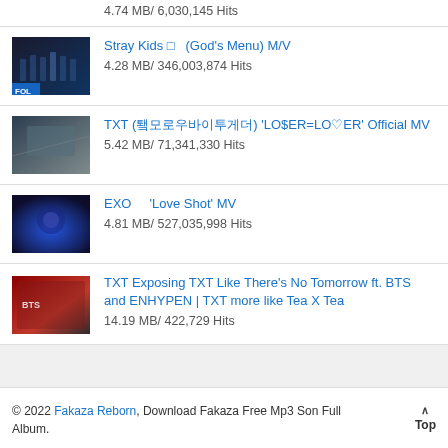4.74 MB/ 6,030,145 Hits
Stray Kids □ (God's Menu) M/V
4.28 MB/ 346,003,874 Hits
TXT (투모로우바이투게더) 'LO$ER=LO♡ER' Official MV
5.42 MB/ 71,341,330 Hits
EXO 'Love Shot' MV
4.81 MB/ 527,035,998 Hits
TXT Exposing TXT Like There's No Tomorrow ft. BTS and ENHYPEN | TXT more like Tea X Tea
14.19 MB/ 422,729 Hits
© 2022 Fakaza Reborn, Download Fakaza Free Mp3 Son Full Album.